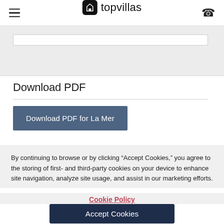topvillas
Download PDF
Download PDF for La Mer
By continuing to browse or by clicking “Accept Cookies,” you agree to the storing of first- and third-party cookies on your device to enhance site navigation, analyze site usage, and assist in our marketing efforts.
Cookie Policy
Accept Cookies